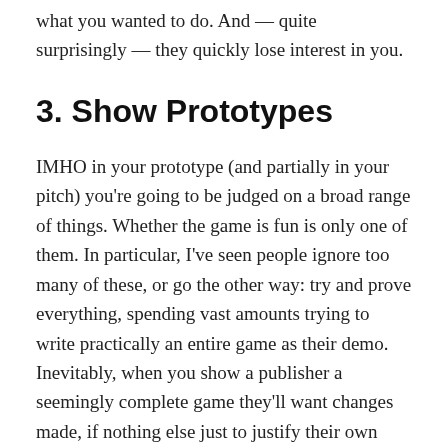what you wanted to do. And — quite surprisingly — they quickly lose interest in you.
3. Show Prototypes
IMHO in your prototype (and partially in your pitch) you're going to be judged on a broad range of things. Whether the game is fun is only one of them. In particular, I've seen people ignore too many of these, or go the other way: try and prove everything, spending vast amounts trying to write practically an entire game as their demo. Inevitably, when you show a publisher a seemingly complete game they'll want changes made, if nothing else just to justify their own creative involvement, and so the vicious circle of spiralling costs starts.